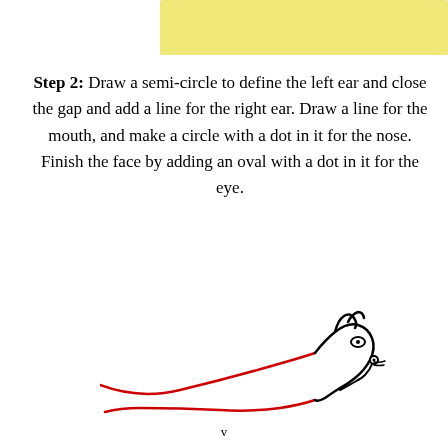[Figure (illustration): Yellow/cream colored rectangular banner at the top of the page]
Step 2: Draw a semi-circle to define the left ear and close the gap and add a line for the right ear. Draw a line for the mouth, and make a circle with a dot in it for the nose. Finish the face by adding an oval with a dot in it for the eye.
[Figure (illustration): A partial drawing of a squirrel showing the head with ears, eye, nose, and mouth rendered in black ink, with red curved lines forming the body outline extending to the left.]
v